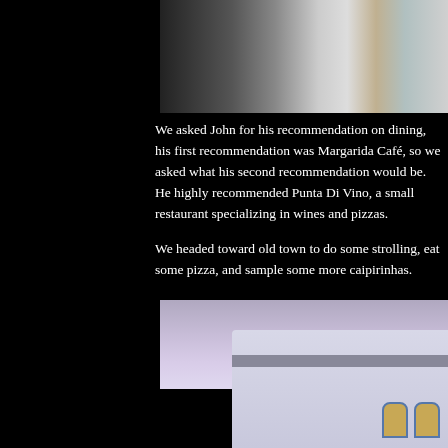[Figure (photo): Interior room photo showing a dark surface or furniture on the left and light-colored tiled floor on the right with a bed partially visible]
We asked John for his recommendation on dining, his first recommendation was Margarida Café, so we asked what his second recommendation would be. He highly recommended Punta Di Vino, a small restaurant specializing in wines and pizzas.
We headed toward old town to do some strolling, eat some pizza, and sample some more caipirinhas.
[Figure (photo): Exterior photo of a historic colonial-style building with blue trim windows and arched details against a cloudy sky]